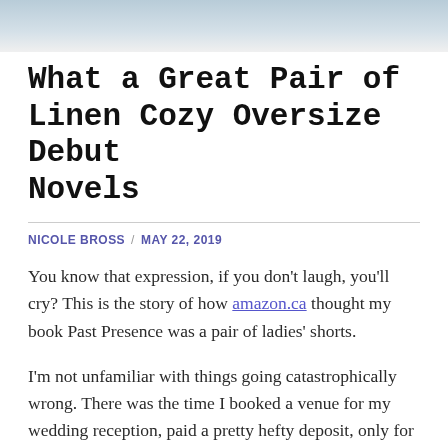[Figure (photo): Top portion of page showing a blurred header image with blue-grey tones]
What a Great Pair of Linen Cozy Oversize Debut Novels
NICOLE BROSS / MAY 22, 2019
You know that expression, if you don't laugh, you'll cry? This is the story of how amazon.ca thought my book Past Presence was a pair of ladies' shorts.
I'm not unfamiliar with things going catastrophically wrong. There was the time I booked a venue for my wedding reception, paid a pretty hefty deposit, only for